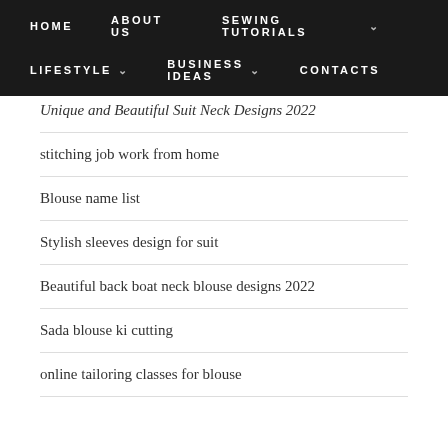HOME   ABOUT US   SEWING TUTORIALS   LIFESTYLE   BUSINESS IDEAS   CONTACTS
Unique and Beautiful Suit Neck Designs 2022
stitching job work from home
Blouse name list
Stylish sleeves design for suit
Beautiful back boat neck blouse designs 2022
Sada blouse ki cutting
online tailoring classes for blouse